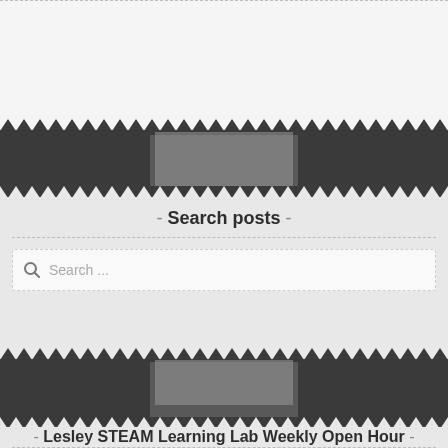[Figure (screenshot): Top dashed border separator and gray background section at the top of the page]
Search posts
[Figure (screenshot): Search input field with magnifier icon and placeholder text 'Search ...']
Lesley STEAM Learning Lab Weekly Open Hour